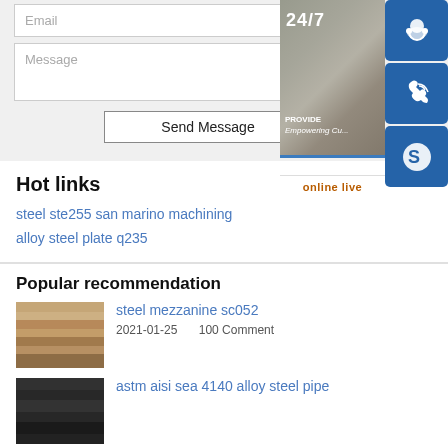[Figure (screenshot): Email input field (form UI element) with placeholder text 'Email']
[Figure (screenshot): Message textarea (form UI element) with placeholder text 'Message']
[Figure (screenshot): Send Message button]
[Figure (photo): Customer support widget showing 24/7 service, woman with headset, three blue icon boxes (headset, phone, Skype), and 'online live' button. Text: 'PROVIDE, Empowering Cu...']
Hot links
steel ste255 san marino machining
alloy steel plate q235
Popular recommendation
[Figure (photo): Thumbnail of stacked metal plates (copper/steel colored)]
steel mezzanine sc052
2021-01-25    100 Comment
[Figure (photo): Thumbnail of dark metal pipe or steel material]
astm aisi sea 4140 alloy steel pipe